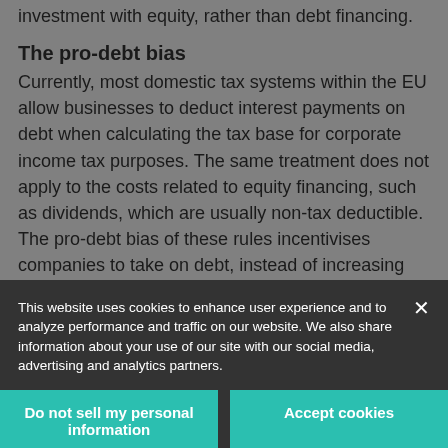investment with equity, rather than debt financing.
The pro-debt bias
Currently, most domestic tax systems within the EU allow businesses to deduct interest payments on debt when calculating the tax base for corporate income tax purposes. The same treatment does not apply to the costs related to equity financing, such as dividends, which are usually non-tax deductible. The pro-debt bias of these rules incentivises companies to take on debt, instead of increasing equity, in order to finance growth.
This website uses cookies to enhance user experience and to analyze performance and traffic on our website. We also share information about your use of our site with our social media, advertising and analytics partners.